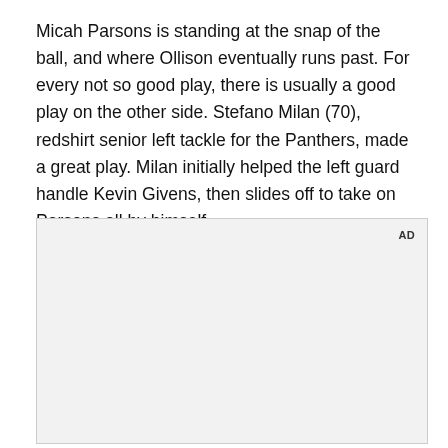Micah Parsons is standing at the snap of the ball, and where Ollison eventually runs past. For every not so good play, there is usually a good play on the other side. Stefano Milan (70), redshirt senior left tackle for the Panthers, made a great play. Milan initially helped the left guard handle Kevin Givens, then slides off to take on Parsons all by himself.
[Figure (other): Advertisement placeholder box with 'AD' label in top right corner, light gray background with border.]